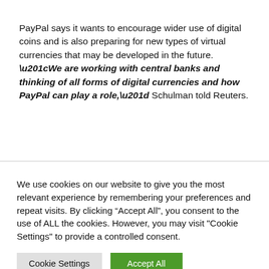PayPal says it wants to encourage wider use of digital coins and is also preparing for new types of virtual currencies that may be developed in the future. “We are working with central banks and thinking of all forms of digital currencies and how PayPal can play a role,” Schulman told Reuters.
We use cookies on our website to give you the most relevant experience by remembering your preferences and repeat visits. By clicking “Accept All”, you consent to the use of ALL the cookies. However, you may visit "Cookie Settings" to provide a controlled consent.